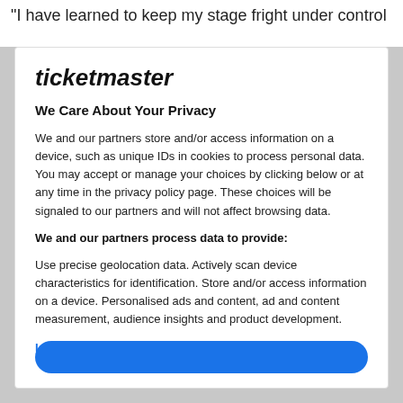"I have learned to keep my stage fright under control
ticketmaster
We Care About Your Privacy
We and our partners store and/or access information on a device, such as unique IDs in cookies to process personal data. You may accept or manage your choices by clicking below or at any time in the privacy policy page. These choices will be signaled to our partners and will not affect browsing data.
We and our partners process data to provide:
Use precise geolocation data. Actively scan device characteristics for identification. Store and/or access information on a device. Personalised ads and content, ad and content measurement, audience insights and product development.
List of Partners (vendors)